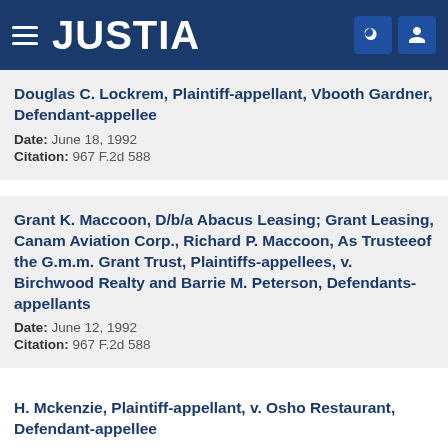JUSTIA
Douglas C. Lockrem, Plaintiff-appellant, Vbooth Gardner, Defendant-appellee
Date: June 18, 1992
Citation: 967 F.2d 588
Grant K. Maccoon, D/b/a Abacus Leasing; Grant Leasing, Canam Aviation Corp., Richard P. Maccoon, As Trusteeof the G.m.m. Grant Trust, Plaintiffs-appellees, v. Birchwood Realty and Barrie M. Peterson, Defendants-appellants
Date: June 12, 1992
Citation: 967 F.2d 588
H. Mckenzie, Plaintiff-appellant, v. Osho Restaurant, Defendant-appellee